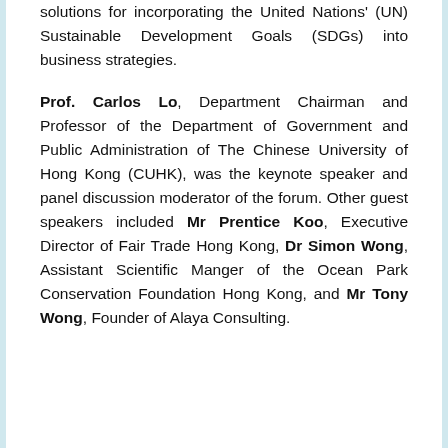solutions for incorporating the United Nations' (UN) Sustainable Development Goals (SDGs) into business strategies.
Prof. Carlos Lo, Department Chairman and Professor of the Department of Government and Public Administration of The Chinese University of Hong Kong (CUHK), was the keynote speaker and panel discussion moderator of the forum. Other guest speakers included Mr Prentice Koo, Executive Director of Fair Trade Hong Kong, Dr Simon Wong, Assistant Scientific Manger of the Ocean Park Conservation Foundation Hong Kong, and Mr Tony Wong, Founder of Alaya Consulting.